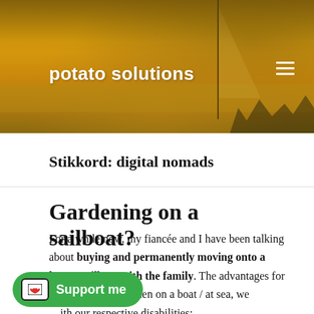[Figure (photo): Website header banner showing a sailboat on golden water at dusk/sunset with trees in the background. A nautical/harbour scene in warm amber tones.]
potato solutions
Stikkord: digital nomads
Gardening on a sailboat?
For a while now, my fiancée and I have been talking about buying and permanently moving onto a larger sailboat with the family. The advantages for us are numerous: when on a boat / at sea, we ... with our respective disabilities; ...manageable; boats are functional units where everything has its place